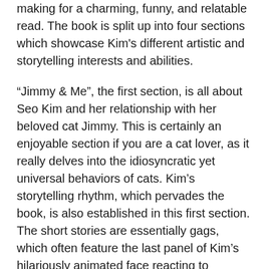making for a charming, funny, and relatable read. The book is split up into four sections which showcase Kim's different artistic and storytelling interests and abilities.
“Jimmy & Me”, the first section, is all about Seo Kim and her relationship with her beloved cat Jimmy. This is certainly an enjoyable section if you are a cat lover, as it really delves into the idiosyncratic yet universal behaviors of cats. Kim’s storytelling rhythm, which pervades the book, is also established in this first section. The short stories are essentially gags, which often feature the last panel of Kim’s hilariously animated face reacting to whatever situation has befallen her.
This leads us into the second section “Just Me.” This part focuses on a solo Kim, whose repetitive and slightly disorganized lifestyle sets her up for a struggle with unfulfilled expectations. Her self-deprecation is relatable as she tackles the “ills” of the modern world through the eyes of a singleton: eating by yourself, spending too much time in